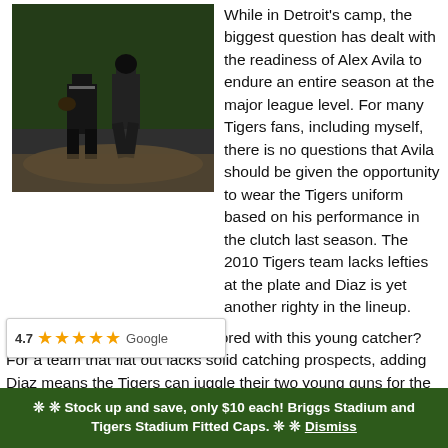[Figure (photo): Baseball catcher and another player in action on the field, dark/nighttime setting]
While in Detroit's camp, the biggest question has dealt with the readiness of Alex Avila to endure an entire season at the major league level. For many Tigers fans, including myself, there is no questions that Avila should be given the opportunity to wear the Tigers uniform based on his performance in the clutch last season. The 2010 Tigers team lacks lefties at the plate and Diaz is yet another righty in the lineup.
So why are the Tigers so enamored with this young catcher? For a team that flat out lacks solid catching prospects, adding Diaz means the Tigers can juggle their two young guns for the player that has the hot bat. He has a .317 career average in [minor league] time and has shown a decent arm behind the plate. Most importantly, his spot on the roster will force Avila and Diaz to work harder this offseason to make the final 25.
❊ ❊ Stock up and save, only $10 each! Briggs Stadium and Tigers Stadium Fitted Caps. ❊ ❊ Dismiss